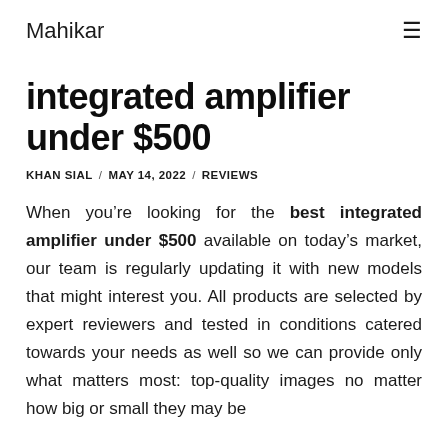Mahikar
integrated amplifier under $500
KHAN SIAL / MAY 14, 2022 / REVIEWS
When you’re looking for the best integrated amplifier under $500 available on today’s market, our team is regularly updating it with new models that might interest you. All products are selected by expert reviewers and tested in conditions catered towards your needs as well so we can provide only what matters most: top-quality images no matter how big or small they may be